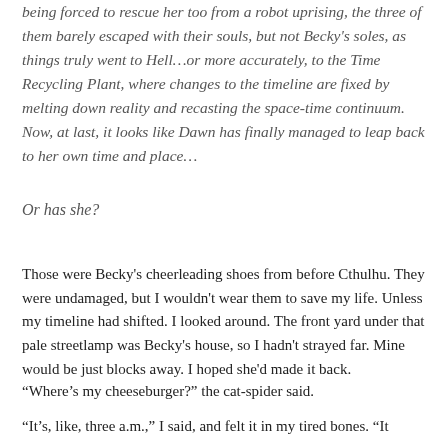being forced to rescue her too from a robot uprising, the three of them barely escaped with their souls, but not Becky's soles, as things truly went to Hell…or more accurately, to the Time Recycling Plant, where changes to the timeline are fixed by melting down reality and recasting the space-time continuum. Now, at last, it looks like Dawn has finally managed to leap back to her own time and place…
Or has she?
Those were Becky's cheerleading shoes from before Cthulhu. They were undamaged, but I wouldn't wear them to save my life. Unless my timeline had shifted. I looked around. The front yard under that pale streetlamp was Becky's house, so I hadn't strayed far. Mine would be just blocks away. I hoped she'd made it back.
“Where’s my cheeseburger?” the cat-spider said.
“It’s, like, three a.m.,” I said, and felt it in my tired bones. “It